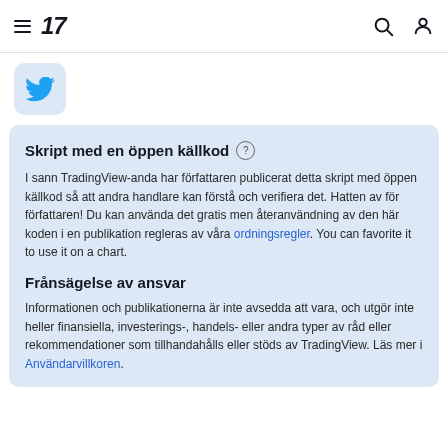TradingView navigation bar with hamburger menu, TV logo, search icon, and user icon
[Figure (logo): Twitter bird logo icon in a rounded square box with light blue background]
Skript med en öppen källkod
I sann TradingView-anda har författaren publicerat detta skript med öppen källkod så att andra handlare kan förstå och verifiera det. Hatten av för författaren! Du kan använda det gratis men återanvändning av den här koden i en publikation regleras av våra ordningsregler. You can favorite it to use it on a chart.
Frānsägelse av ansvar
Informationen och publikationerna är inte avsedda att vara, och utgör inte heller finansiella, investerings-, handels- eller andra typer av råd eller rekommendationer som tillhandahålls eller stöds av TradingView. Läs mer i Användarvillkoren.